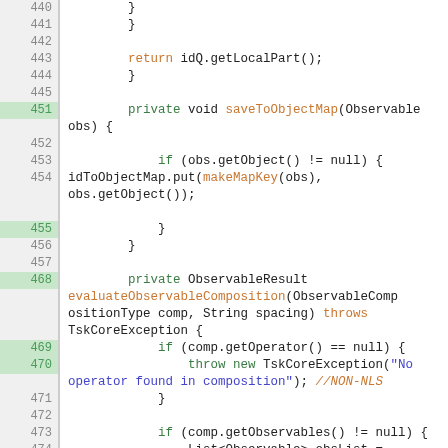[Figure (screenshot): Source code editor showing Java code lines 440-478 with syntax highlighting. Line numbers on left gutter with some highlighted in green. Keywords in green, method names in orange, strings in blue, comments in orange italic.]